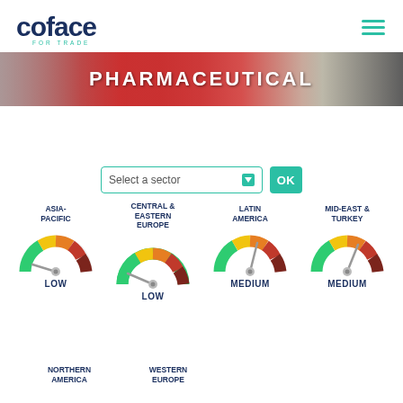[Figure (logo): Coface 'for trade' logo in navy blue with teal tagline]
[Figure (photo): Banner image of pharmaceutical pills/capsules in red and white, with overlay text PHARMACEUTICAL]
PHARMACEUTICAL
Select a sector (dropdown) OK button
[Figure (infographic): Risk gauge dials for each region: ASIA-PACIFIC LOW, CENTRAL & EASTERN EUROPE LOW, LATIN AMERICA MEDIUM, MID-EAST & TURKEY MEDIUM, NORTHERN AMERICA (partial), WESTERN EUROPE (partial)]